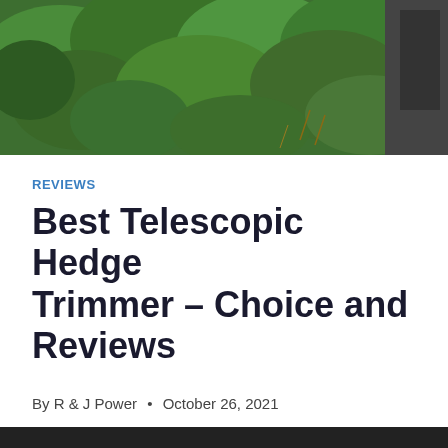[Figure (photo): Top portion of a green hedge/bush being trimmed, with dark clothing visible at right edge]
REVIEWS
Best Telescopic Hedge Trimmer – Choice and Reviews
By R & J Power • October 26, 2021
We are using cookies to give you the best experience on our website.
You can find out more about which cookies we are using or switch them off in settings.
Accept